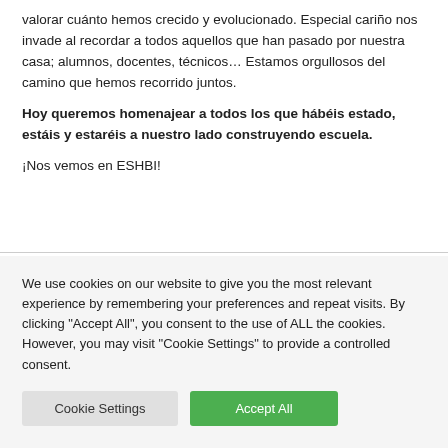valorar cuánto hemos crecido y evolucionado. Especial cariño nos invade al recordar a todos aquellos que han pasado por nuestra casa; alumnos, docentes, técnicos… Estamos orgullosos del camino que hemos recorrido juntos.
Hoy queremos homenajear a todos los que hábéis estado, estáis y estaréis a nuestro lado construyendo escuela.
¡Nos vemos en ESHBI!
We use cookies on our website to give you the most relevant experience by remembering your preferences and repeat visits. By clicking "Accept All", you consent to the use of ALL the cookies. However, you may visit "Cookie Settings" to provide a controlled consent.
Cookie Settings | Accept All